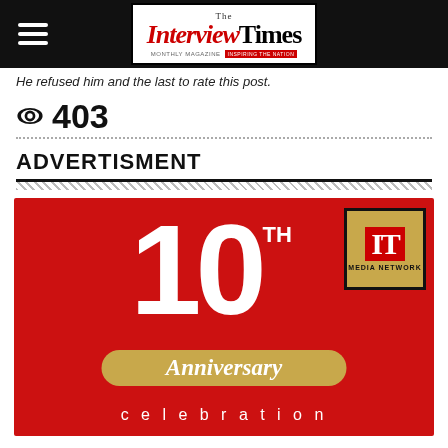The Interview Times
He refused him and the last to rate this post.
403
ADVERTISMENT
[Figure (illustration): 10th Anniversary celebration advertisement for IT Media Network on red background with gold ribbon and white numerals]